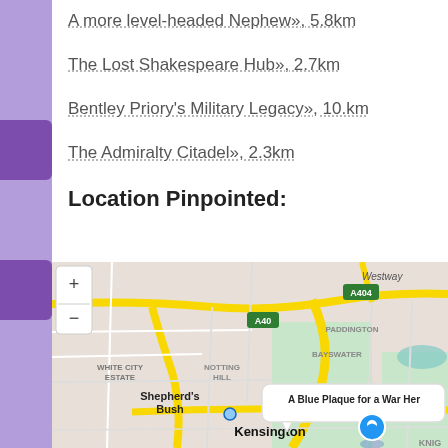A more level-headed Nephew», 5.8km
The Lost Shakespeare Hub», 2.7km
Bentley Priory's Military Legacy», 10.km
The Admiralty Citadel», 2.3km
Location Pinpointed:
[Figure (map): Street map of west/central London showing areas including White City Estate, Notting Hill, Bayswater, Paddington, Shepherd's Bush, Kensington, with road labels A40, A404, Westway. A location pin is visible with a tooltip reading 'A Blue Plaque for a War Her...']